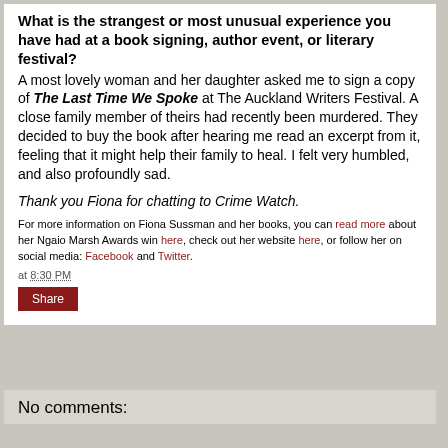What is the strangest or most unusual experience you have had at a book signing, author event, or literary festival?
A most lovely woman and her daughter asked me to sign a copy of The Last Time We Spoke at The Auckland Writers Festival. A close family member of theirs had recently been murdered. They decided to buy the book after hearing me read an excerpt from it, feeling that it might help their family to heal. I felt very humbled, and also profoundly sad.
Thank you Fiona for chatting to Crime Watch.
For more information on Fiona Sussman and her books, you can read more about her Ngaio Marsh Awards win here, check out her website here, or follow her on social media: Facebook and Twitter.
at 8:30 PM
Share
No comments: